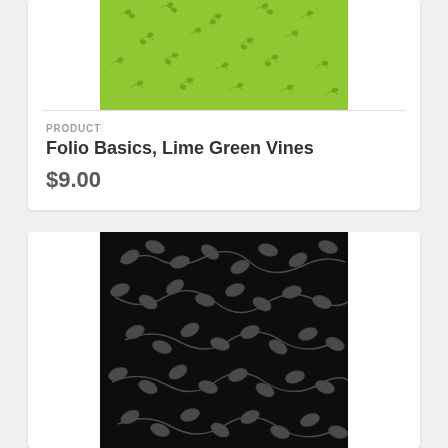[Figure (photo): Lime green fabric with small vine and leaf pattern in darker green]
PRODUCT
Folio Basics, Lime Green Vines
$9.00
[Figure (photo): Black fabric with grey vine and leaf pattern]